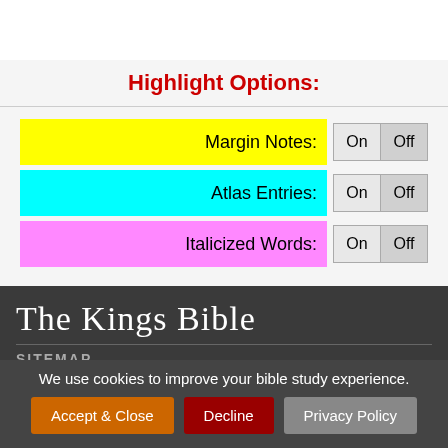Highlight Options:
Margin Notes: On Off
Atlas Entries: On Off
Italicized Words: On Off
The Kings Bible
SITEMAP
We use cookies to improve your bible study experience.
Accept & Close  Decline  Privacy Policy